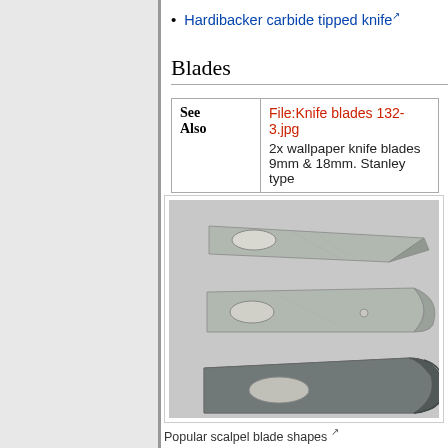Hardibacker carbide tipped knife
Blades
| See Also | File:Knife blades 132-3.jpg / 2x wallpaper knife blades 9mm & 18mm. Stanley type |
| --- | --- |
| See Also | File:Knife blades 132-3.jpg
2x wallpaper knife blades 9mm & 18mm. Stanley type |
[Figure (photo): Three scalpel/craft knife blade shapes: a pointed triangular blade (top), a curved belly blade (middle), and a crescent-shaped hook blade (bottom), all metallic silver/grey, each with an oval mounting hole.]
Popular scalpel blade shapes